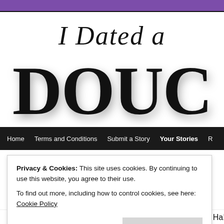[Figure (logo): Website logo showing 'I Dated a' in italic script above large bold 'DOUC' text (partially cropped), with a purple bar at the top and a black horizontal line below]
Home | Terms and Conditions | Submit a Story | Your Stories | R...
Privacy & Cookies: This site uses cookies. By continuing to use this website, you agree to their use.
To find out more, including how to control cookies, see here: Cookie Policy
Close and accept
shortly after my divorce – so it seemed like perfect timing. Ha!